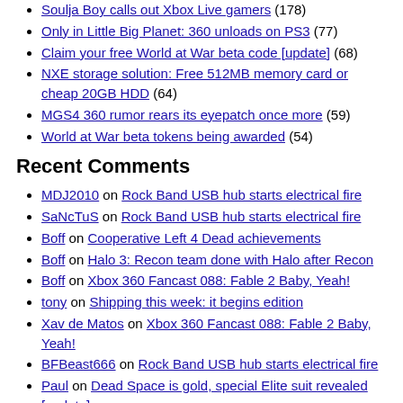Soulja Boy calls out Xbox Live gamers (178)
Only in Little Big Planet: 360 unloads on PS3 (77)
Claim your free World at War beta code [update] (68)
NXE storage solution: Free 512MB memory card or cheap 20GB HDD (64)
MGS4 360 rumor rears its eyepatch once more (59)
World at War beta tokens being awarded (54)
Recent Comments
MDJ2010 on Rock Band USB hub starts electrical fire
SaNcTuS on Rock Band USB hub starts electrical fire
Boff on Cooperative Left 4 Dead achievements
Boff on Halo 3: Recon team done with Halo after Recon
Boff on Xbox 360 Fancast 088: Fable 2 Baby, Yeah!
tony on Shipping this week: it begins edition
Xav de Matos on Xbox 360 Fancast 088: Fable 2 Baby, Yeah!
BFBeast666 on Rock Band USB hub starts electrical fire
Paul on Dead Space is gold, special Elite suit revealed [update]
zorniki on Shipping this week: indecision edition
Worth reading